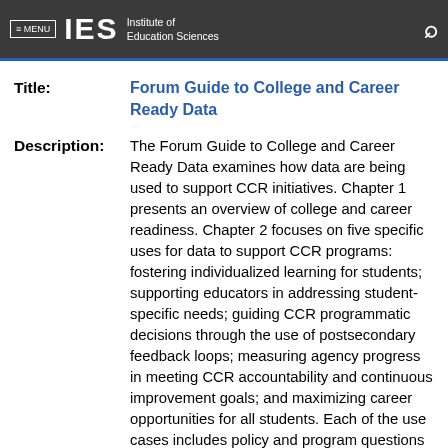≡ MENU  IES  Institute of Education Sciences
Forum Guide to College and Career Ready Data
The Forum Guide to College and Career Ready Data examines how data are being used to support CCR initiatives. Chapter 1 presents an overview of college and career readiness. Chapter 2 focuses on five specific uses for data to support CCR programs: fostering individualized learning for students; supporting educators in addressing student-specific needs; guiding CCR programmatic decisions through the use of postsecondary feedback loops; measuring agency progress in meeting CCR accountability and continuous improvement goals; and maximizing career opportunities for all students. Each of the use cases includes policy and program questions to consider, a list of key data needs, useful